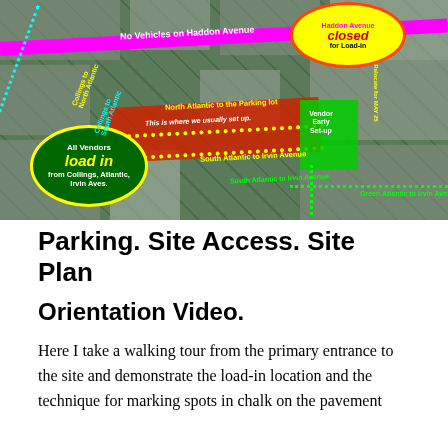[Figure (map): Aerial/satellite map showing vendor load-in routes for a street fair. Shows Haddon Avenue closed (magenta line), yellow dotted routes along North and South Atlantic avenues, cyan dotted lines along Collings Avenue, green dotted lines along Atlantic/Irvin areas. Features two ovals: 'Haddon Avenue closed for Load-in' (yellow/red) and 'All Vendors load in from Collings, Atlantic, Irvin Aves.' (green/yellow). Red bar marks vendor setup area. Green rectangle marks venue. Labels indicate: No Vehicles on Haddon Avenue, North Atlantic to the Parking lot, This is where we usually set up, South Atlantic to Irvin Avenue, Collings to North Atlantic, Collings to South Atlantic, Relocate for MAY 25, Vendor Early Set-up, South Atlantic to Irvin Avenue, Green Atlantic to Irvin Avenue.]
Parking. Site Access. Site Plan
Orientation Video.
Here I take a walking tour from the primary entrance to the site and demonstrate the load-in location and the technique for marking spots in chalk on the pavement